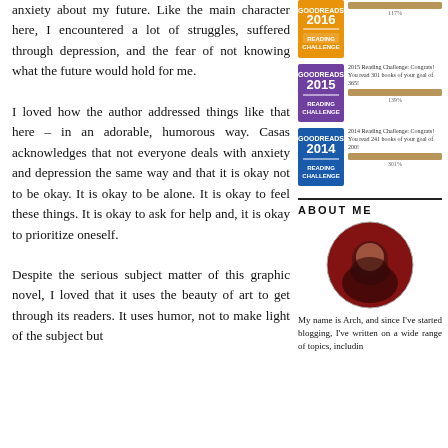anxiety about my future. Like the main character here, I encountered a lot of struggles, suffered through depression, and the fear of not knowing what the future would hold for me.
[Figure (infographic): Goodreads Reading Challenge badges for 2016, 2015, and 2014 with progress bars]
I loved how the author addressed things like that here – in an adorable, humorous way. Casas acknowledges that not everyone deals with anxiety and depression the same way and that it is okay not to be okay. It is okay to be alone. It is okay to feel these things. It is okay to ask for help and, it is okay to prioritize oneself.
ABOUT ME
[Figure (photo): Circular profile photo of a young man smiling, in a dark venue with red lighting]
Despite the serious subject matter of this graphic novel, I loved that it uses the beauty of art to get through its readers. It uses humor, not to make light of the subject but
My name is Arch, and since I've started blogging, I've written on a wide range of topics, includin